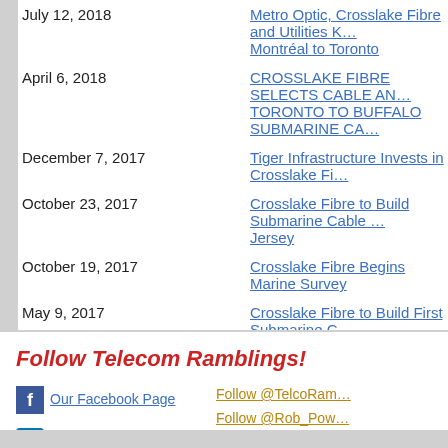July 12, 2018 | Metro Optic, Crosslake Fibre and Utilities Kingston join forces on new link from Montréal to Toronto
April 6, 2018 | CROSSLAKE FIBRE SELECTS CABLE AND WIRELESS FOR TORONTO TO BUFFALO SUBMARINE CABLE
December 7, 2017 | Tiger Infrastructure Invests in Crosslake Fibre
October 23, 2017 | Crosslake Fibre to Build Submarine Cable … Jersey
October 19, 2017 | Crosslake Fibre Begins Marine Survey
May 9, 2017 | Crosslake Fibre to Build First Submarine Cable Through Lake Ontario
Return to Company Archive
Follow Telecom Ramblings!
Our Facebook Page
Follow @TelcoRam…
Follow @Rob_Pow…
Join Our LinkedIn Group
Subscribe to ou…